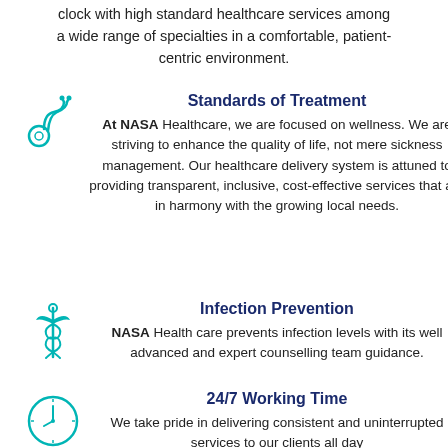clock with high standard healthcare services among a wide range of specialties in a comfortable, patient-centric environment.
[Figure (illustration): Teal stethoscope icon]
Standards of Treatment
At NASA Healthcare, we are focused on wellness. We are striving to enhance the quality of life, not mere sickness management. Our healthcare delivery system is attuned to providing transparent, inclusive, cost-effective services that are in harmony with the growing local needs.
[Figure (illustration): Teal caduceus/medical symbol icon with wings]
Infection Prevention
NASA Health care prevents infection levels with its well advanced and expert counselling team guidance.
[Figure (illustration): Teal clock icon]
24/7 Working Time
We take pride in delivering consistent and uninterrupted services to our clients all day